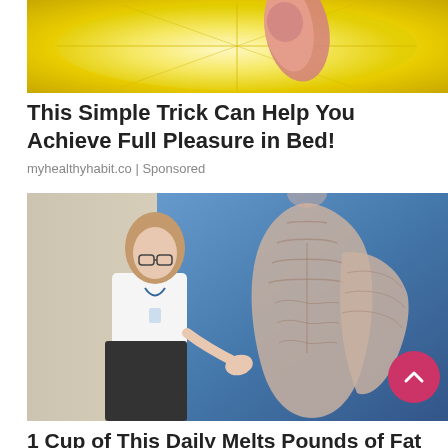[Figure (photo): Close-up photo of a lemon slice with a finger pressing into it, yellow citrus flesh visible]
This Simple Trick Can Help You Achieve Full Pleasure in Bed!
myhealthyhabit.co | Sponsored
[Figure (photo): Woman in white shirt and black skirt with glasses and lanyard pointing at a blue panel showing a muscular anatomy illustration of a human body]
1 Cup of This Daily Melts Pounds of Fat in a